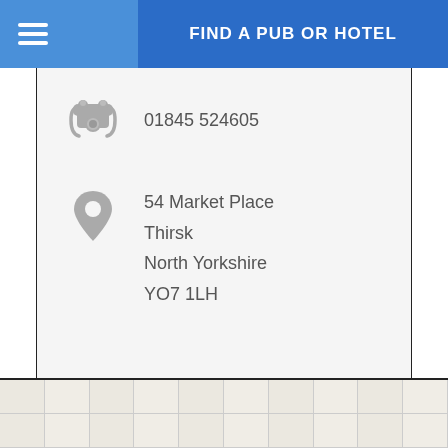FIND A PUB OR HOTEL
01845 524605
54 Market Place
Thirsk
North Yorkshire
YO7 1LH
From £39 per night